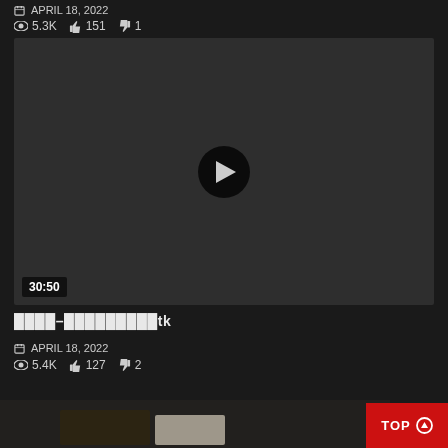APRIL 18, 2022  👁 5.3K  👍 151  👎 1
[Figure (screenshot): Dark video player thumbnail with play button in center and duration badge showing 30:50]
████–█████████tk
APRIL 18, 2022  👁 5.4K  👍 127  👎 2
[Figure (photo): Partial thumbnail of a video showing a hand holding something, cut off at bottom of page]
TOP ↑